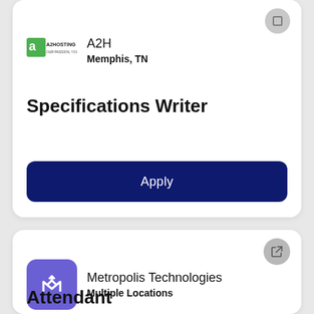[Figure (logo): A2 Hosting company logo]
A2H
Memphis, TN
Specifications Writer
Apply
[Figure (logo): Metropolis Technologies logo - purple rounded square with white M arrow icon]
Metropolis Technologies
Multiple Locations
Attendant